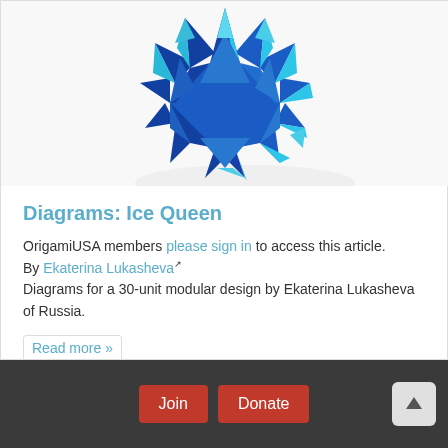[Figure (photo): A blue spiky modular origami star/kusudama structure (Ice Queen) made of folded paper, photographed against a white background.]
Diagrams: Ice Queen
OrigamiUSA members please sign in to access this article.
By Ekaterina Lukasheva
Diagrams for a 30-unit modular design by Ekaterina Lukasheva of Russia.
Read more »